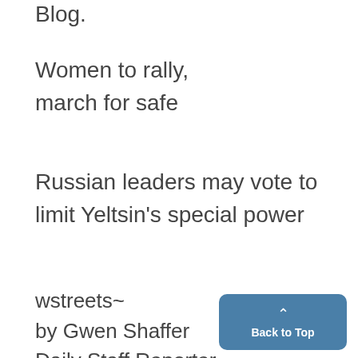Blog.
Women to rally,
march for safe
Russian leaders may vote to
limit Yeltsin's special power
wstreets~
by Gwen Shaffer
Daily Staff Reporter
Women will be marching to-
gether to demonstrate their st
and solidarity Saturday night.